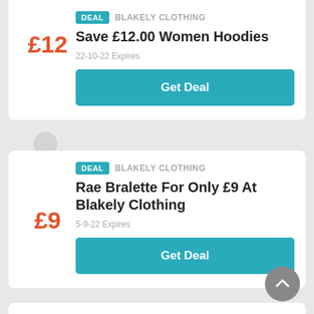£12
Save £12.00 Women Hoodies
DEAL  BLAKELY CLOTHING
22-10-22 Expires
Get Deal
£9
Rae Bralette For Only £9 At Blakely Clothing
DEAL  BLAKELY CLOTHING
5-9-22 Expires
Get Deal